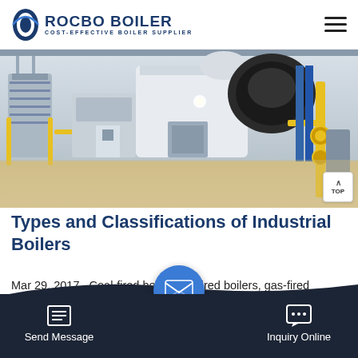ROCBO BOILER - COST-EFFECTIVE BOILER SUPPLIER
[Figure (photo): Industrial boiler room with multiple large boilers, yellow piping, and equipment on a polished floor]
Types and Classifications of Industrial Boilers
Mar 29, 2017 · Coal-fired boilers, oil fired boilers, gas-fired boilers, Biomass boilers, electric boilers, Circulating Fluidized bed boiler, Pulverized Coal boiler (PC...
Send Message | Inquiry Online